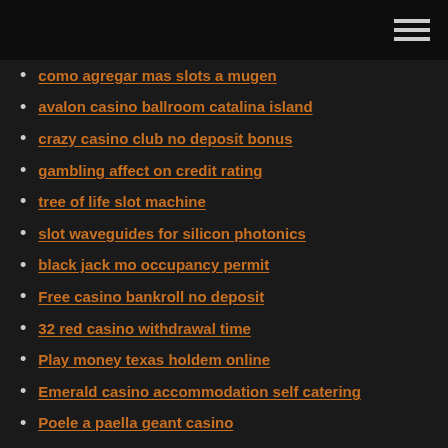como agregar mas slots a mugen
avalon casino ballroom catalina island
crazy casino club no deposit bonus
gambling affect on credit rating
tree of life slot machine
slot waveguides for silicon photonics
black jack mo occupancy permit
Free casino bankroll no deposit
32 red casino withdrawal time
Play money texas holdem online
Emerald casino accommodation self catering
Poele a paella geant casino
Monte casino bird park times
Couleur ou suite qui gagne au poker